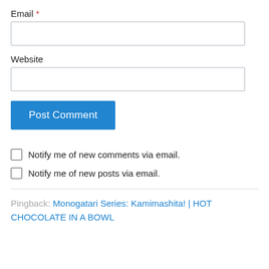Email *
Website
Post Comment
Notify me of new comments via email.
Notify me of new posts via email.
Pingback: Monogatari Series: Kamimashita! | HOT CHOCOLATE IN A BOWL